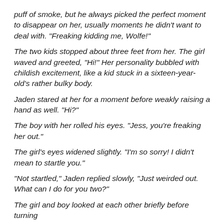puff of smoke, but he always picked the perfect moment to disappear on her, usually moments he didn't want to deal with. “Freaking kidding me, Wolfe!”
The two kids stopped about three feet from her. The girl waved and greeted, “Hi!” Her personality bubbled with childish excitement, like a kid stuck in a sixteen-year-old’s rather bulky body.
Jaden stared at her for a moment before weakly raising a hand as well. “Hi?”
The boy with her rolled his eyes. “Jess, you’re freaking her out.”
The girl’s eyes widened slightly. “I’m so sorry! I didn’t mean to startle you.”
“Not startled,” Jaden replied slowly, “Just weirded out. What can I do for you two?”
The girl and boy looked at each other briefly before turning